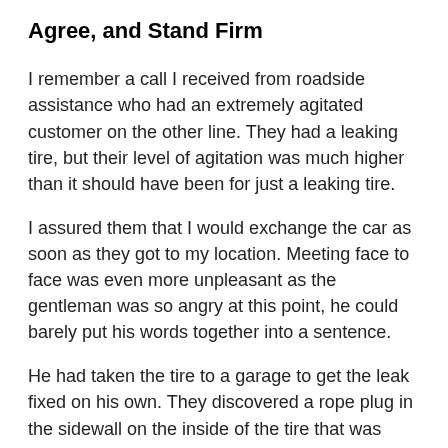Agree, and Stand Firm
I remember a call I received from roadside assistance who had an extremely agitated customer on the other line. They had a leaking tire, but their level of agitation was much higher than it should have been for just a leaking tire.
I assured them that I would exchange the car as soon as they got to my location. Meeting face to face was even more unpleasant as the gentleman was so angry at this point, he could barely put his words together into a sentence.
He had taken the tire to a garage to get the leak fixed on his own. They discovered a rope plug in the sidewall on the inside of the tire that was leaking. This customer